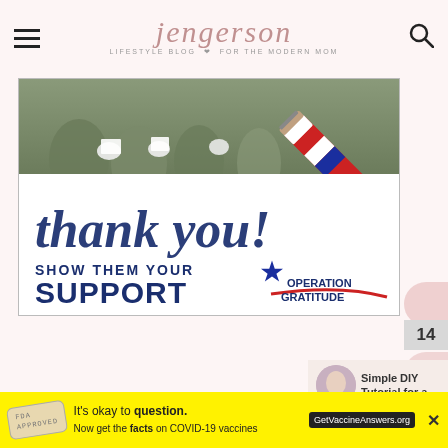jengerson — LIFESTYLE BLOG FOR THE MODERN MOM
[Figure (illustration): Operation Gratitude promotional banner with 'thank you!' script text, red/white/blue pencil graphic, soldiers in background, 'SHOW THEM YOUR SUPPORT' text, and Operation Gratitude logo]
14
[Figure (photo): Simple DIY Tutorial for a... thumbnail with circular baby photo]
Simple DIY Tutorial for a...
When I let the kids know that we
[Figure (other): Advertisement banner: It's okay to question. Now get the facts on COVID-19 vaccines. GetVaccineAnswers.org]